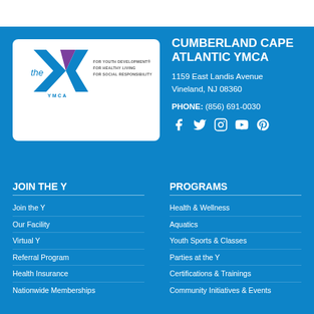[Figure (logo): YMCA logo with blue Y shape, purple swoosh, 'the' italic text, and taglines: FOR YOUTH DEVELOPMENT, FOR HEALTHY LIVING, FOR SOCIAL RESPONSIBILITY on white card]
CUMBERLAND CAPE ATLANTIC YMCA
1159 East Landis Avenue
Vineland, NJ 08360
PHONE: (856) 691-0030
[Figure (other): Social media icons: Facebook, Twitter, Instagram, YouTube, Pinterest]
JOIN THE Y
Join the Y
Our Facility
Virtual Y
Referral Program
Health Insurance
Nationwide Memberships
PROGRAMS
Health & Wellness
Aquatics
Youth Sports & Classes
Parties at the Y
Certifications & Trainings
Community Initiatives & Events